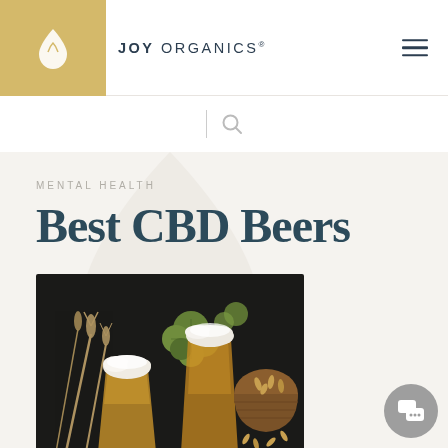JOY ORGANICS
MENTAL HEALTH
Best CBD Beers
[Figure (photo): Top-down view of two glasses of beer with foam, surrounded by hops, wheat stalks, and a basket of grain on a dark background.]